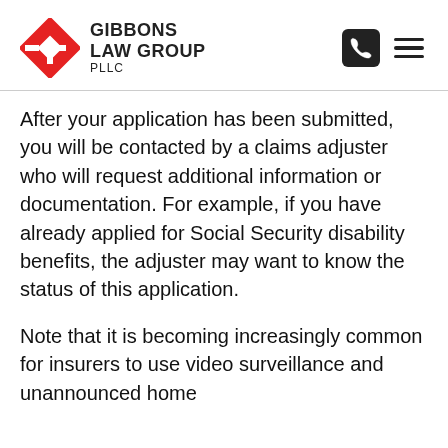Gibbons Law Group PLLC
After your application has been submitted, you will be contacted by a claims adjuster who will request additional information or documentation. For example, if you have already applied for Social Security disability benefits, the adjuster may want to know the status of this application.
Note that it is becoming increasingly common for insurers to use video surveillance and unannounced home visits, sometimes to determine the nature of...